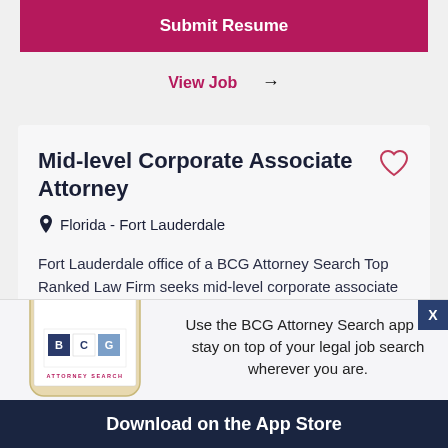Submit Resume
View Job →
Mid-level Corporate Associate Attorney
Florida - Fort Lauderdale
Fort Lauderdale office of a BCG Attorney Search Top Ranked Law Firm seeks mid-level corporate associate attorney with 4-5 years of experience representing
Use the BCG Attorney Search app to stay on top of your legal job search wherever you are.
Download on the App Store